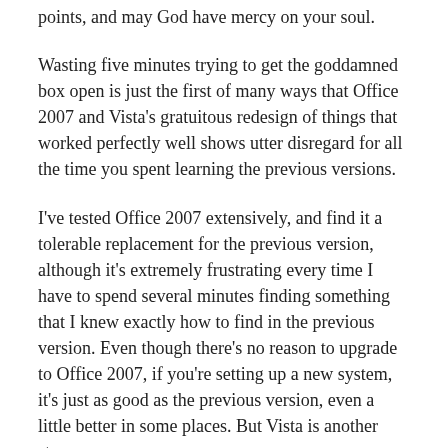points, and may God have mercy on your soul.
Wasting five minutes trying to get the goddamned box open is just the first of many ways that Office 2007 and Vista's gratuitous redesign of things that worked perfectly well shows utter disregard for all the time you spent learning the previous versions.
I've tested Office 2007 extensively, and find it a tolerable replacement for the previous version, although it's extremely frustrating every time I have to spend several minutes finding something that I knew exactly how to find in the previous version. Even though there's no reason to upgrade to Office 2007, if you're setting up a new system, it's just as good as the previous version, even a little better in some places. But Vista is another story.